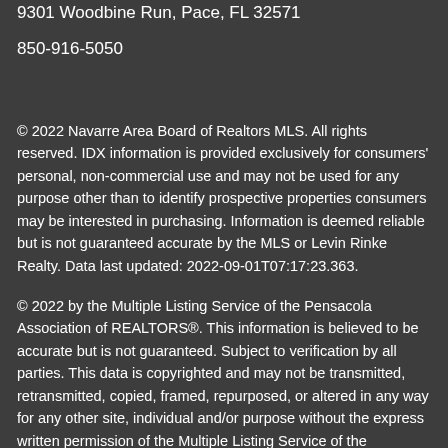9301 Woodbine Run, Pace, FL 32571
850-916-5050
© 2022 Navarre Area Board of Realtors MLS. All rights reserved. IDX information is provided exclusively for consumers' personal, non-commercial use and may not be used for any purpose other than to identify prospective properties consumers may be interested in purchasing. Information is deemed reliable but is not guaranteed accurate by the MLS or Levin Rinke Realty. Data last updated: 2022-09-01T07:17:23.363.
© 2022 by the Multiple Listing Service of the Pensacola Association of REALTORS®. This information is believed to be accurate but is not guaranteed. Subject to verification by all parties. This data is copyrighted and may not be transmitted, retransmitted, copied, framed, repurposed, or altered in any way for any other site, individual and/or purpose without the express written permission of the Multiple Listing Service of the Pensacola Association of REALTORS®. Florida recognizes single and